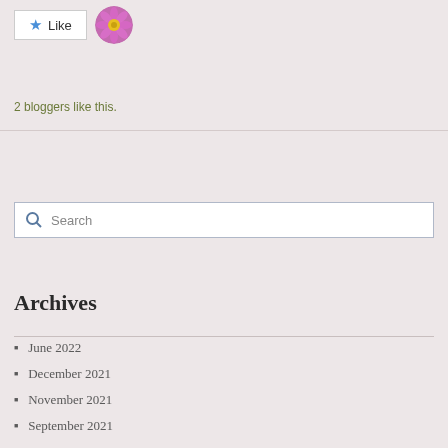[Figure (other): Like button with star icon and a circular avatar of a pink flower]
2 bloggers like this.
[Figure (other): Search bar with magnifying glass icon and placeholder text 'Search']
Archives
June 2022
December 2021
November 2021
September 2021
August 2021